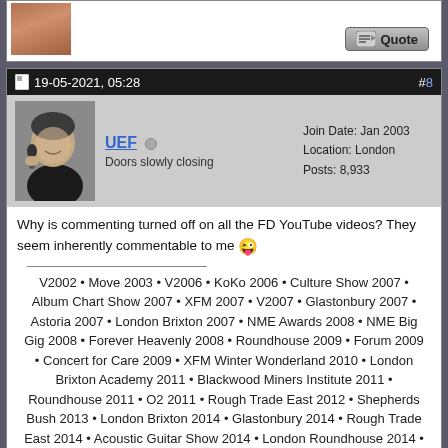[Figure (photo): Partial view of top post with avatar photo and Quote button]
19-05-2021, 05:28   #8
[Figure (photo): Avatar photo of UEF - person holding microphone, black and white style]
UEF
Doors slowly closing
Join Date: Jan 2003
Location: London
Posts: 8,933
Why is commenting turned off on all the FD YouTube videos? They seem inherently commentable to me 😜
V2002 • Move 2003 • V2006 • KoKo 2006 • Culture Show 2007 • Album Chart Show 2007 • XFM 2007 • V2007 • Glastonbury 2007 • Astoria 2007 • London Brixton 2007 • NME Awards 2008 • NME Big Gig 2008 • Forever Heavenly 2008 • Roundhouse 2009 • Forum 2009 • Concert for Care 2009 • XFM Winter Wonderland 2010 • London Brixton Academy 2011 • Blackwood Miners Institute 2011 • Roundhouse 2011 • O2 2011 • Rough Trade East 2012 • Shepherds Bush 2013 • London Brixton 2014 • Glastonbury 2014 • Rough Trade East 2014 • Acoustic Guitar Show 2014 • London Roundhouse 2014 • Cardiff Castle 2015 • London On Blackheath 2015 • London Royal Albert Hall 2016 • Swansea Liberty Stadium 2016 • Wembley Arena 2018 • Shepherds Bush 2019 • Kingston Pryzm 2021 x2 • Wembley Arena 2021 • (38)